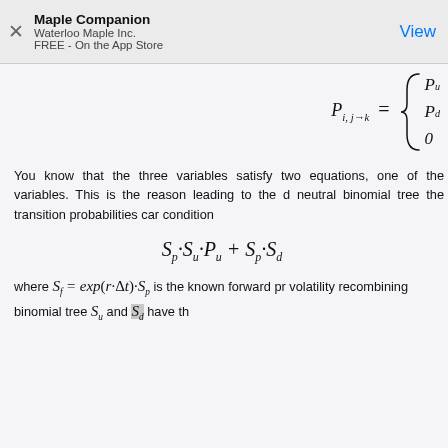Maple Companion | Waterloo Maple Inc. | FREE - On the App Store | View
You know that the three variables satisfy two equations, one of the variables. This is the reason leading to the d neutral binomial tree the transition probabilities can condition
where S_f = exp(r·Δt)·S_p is the known forward pr volatility recombining binomial tree S_u and S_d have th